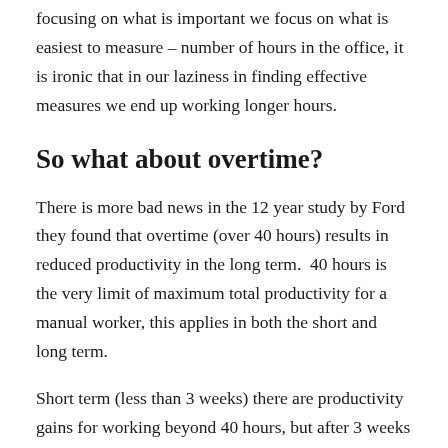focusing on what is important we focus on what is easiest to measure – number of hours in the office, it is ironic that in our laziness in finding effective measures we end up working longer hours.
So what about overtime?
There is more bad news in the 12 year study by Ford they found that overtime (over 40 hours) results in reduced productivity in the long term.  40 hours is the very limit of maximum total productivity for a manual worker, this applies in both the short and long term.
Short term (less than 3 weeks) there are productivity gains for working beyond 40 hours, but after 3 weeks those gains disappear and actually reduce productivity afterwards. Even just 2 weeks of overtime and then